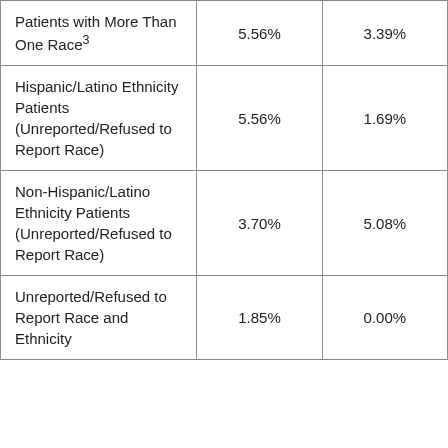| Patients with More Than One Race³ | 5.56% | 3.39% |
| Hispanic/Latino Ethnicity Patients (Unreported/Refused to Report Race) | 5.56% | 1.69% |
| Non-Hispanic/Latino Ethnicity Patients (Unreported/Refused to Report Race) | 3.70% | 5.08% |
| Unreported/Refused to Report Race and Ethnicity | 1.85% | 0.00% |